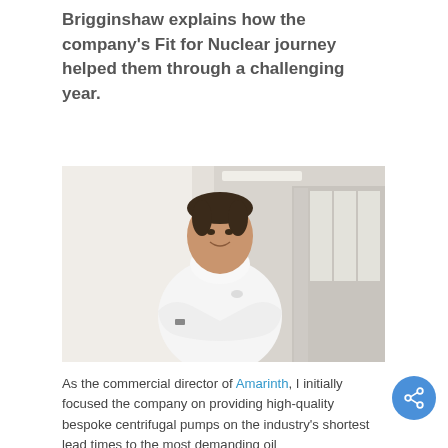Brigginshaw explains how the company's Fit for Nuclear journey helped them through a challenging year.
[Figure (photo): Professional portrait photo of a man in a white dress shirt with arms crossed, smiling, standing in a bright corridor with windows and curtains in the background.]
As the commercial director of Amarinth, I initially focused the company on providing high-quality bespoke centrifugal pumps on the industry's shortest lead times to the most demanding oil